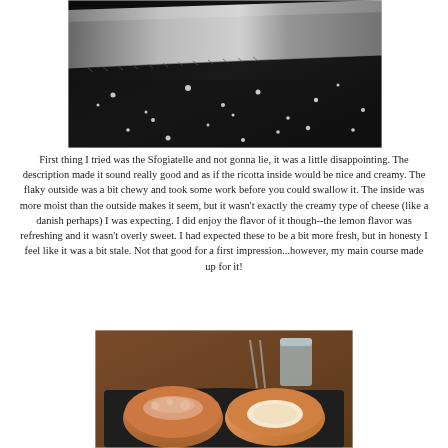[Figure (photo): Close-up photo of a serrated knife blade against a dark surface with scattered white salt crystals or crumbs]
First thing I tried was the Sfogiatelle and not gonna lie, it was a little disappointing. The description made it sound really good and as if the ricotta inside would be nice and creamy. The flaky outside was a bit chewy and took some work before you could swallow it. The inside was more moist than the outside makes it seem, but it wasn't exactly the creamy type of cheese (like a danish perhaps) I was expecting. I did enjoy the flavor of it though--the lemon flavor was refreshing and it wasn't overly sweet. I had expected these to be a bit more fresh, but in honesty I feel like it was a bit stale. Not that good for a first impression...however, my main course made up for it!
[Figure (photo): Photo of pastries (Sfogiatelle) dusted with powdered sugar on a dark plate, with a glass of water and cutlery in the background]